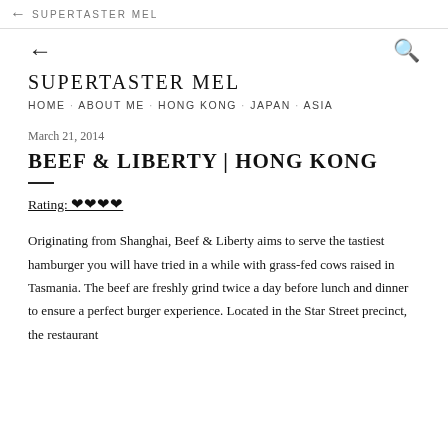← SUPERTASTER MEL
← SUPERTASTER MEL HOME · ABOUT ME · HONG KONG · JAPAN · ASIA
SUPERTASTER MEL
HOME · ABOUT ME · HONG KONG · JAPAN · ASIA
March 21, 2014
BEEF & LIBERTY | HONG KONG
Rating: ♥♥♥♥
Originating from Shanghai, Beef & Liberty aims to serve the tastiest hamburger you will have tried in a while with grass-fed cows raised in Tasmania. The beef are freshly grind twice a day before lunch and dinner to ensure a perfect burger experience. Located in the Star Street precinct, the restaurant